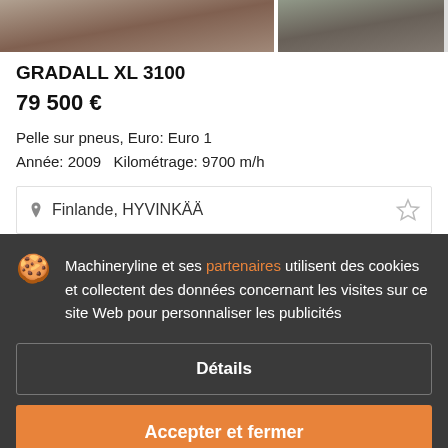[Figure (photo): Two partial images of construction equipment (excavators) cropped at top of page]
GRADALL XL 3100
79 500 €
Pelle sur pneus, Euro: Euro 1
Année: 2009   Kilométrage: 9700 m/h
Finlande, HYVINKÄÄ
Machineryline et ses partenaires utilisent des cookies et collectent des données concernant les visites sur ce site Web pour personnaliser les publicités
Détails
Accepter et fermer
GRADALL XL 4200II